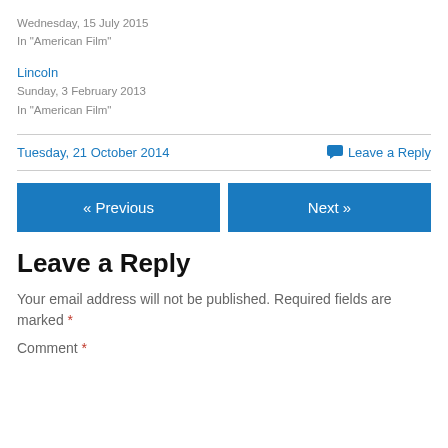Wednesday, 15 July 2015
In "American Film"
Lincoln
Sunday, 3 February 2013
In "American Film"
Tuesday, 21 October 2014
Leave a Reply
« Previous
Next »
Leave a Reply
Your email address will not be published. Required fields are marked *
Comment *